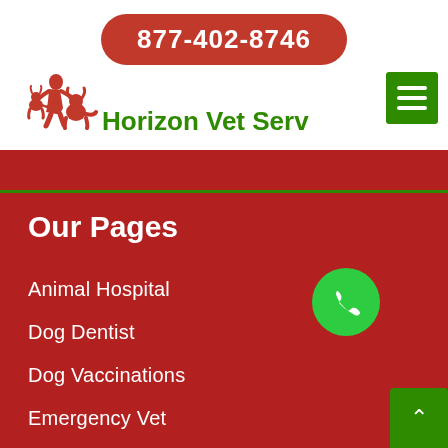877-402-8746
[Figure (logo): Horizon Vet Serv logo with veterinarian silhouette icon and green text]
[Figure (other): Green hamburger menu button with three white horizontal lines]
Our Pages
Animal Hospital
Dog Dentist
Dog Vaccinations
Emergency Vet
Bird Vet
[Figure (other): Green circular phone call button]
[Figure (other): Green square up-arrow scroll button]